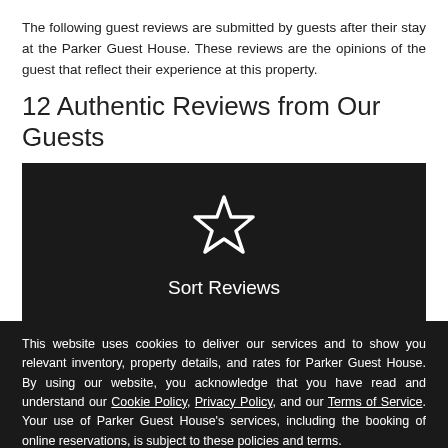The following guest reviews are submitted by guests after their stay at the Parker Guest House. These reviews are the opinions of the guest that reflect their experience at this property.
12 Authentic Reviews from Our Guests
[Figure (other): Dark button with a star icon and text 'Sort Reviews']
This website uses cookies to deliver our services and to show you relevant inventory, property details, and rates for Parker Guest House. By using our website, you acknowledge that you have read and understand our Cookie Policy, Privacy Policy, and our Terms of Service. Your use of Parker Guest House's services, including the booking of online reservations, is subject to these policies and terms.